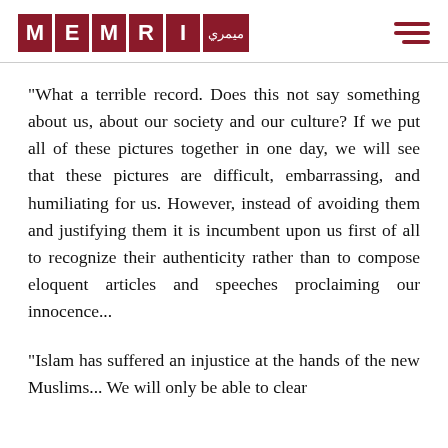[Figure (logo): MEMRI logo with red boxes containing letters M, E, M, R, I and Arabic text]
"What a terrible record. Does this not say something about us, about our society and our culture? If we put all of these pictures together in one day, we will see that these pictures are difficult, embarrassing, and humiliating for us. However, instead of avoiding them and justifying them it is incumbent upon us first of all to recognize their authenticity rather than to compose eloquent articles and speeches proclaiming our innocence...
"Islam has suffered an injustice at the hands of the new Muslims... We will only be able to clear